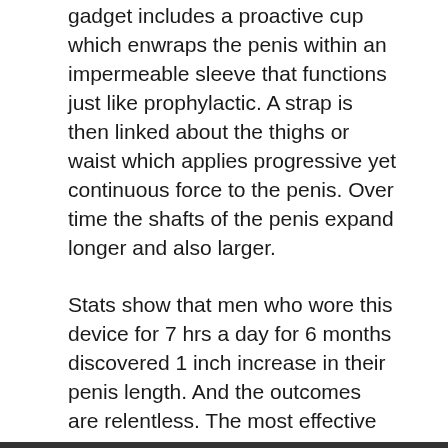gadget includes a proactive cup which enwraps the penis within an impermeable sleeve that functions just like prophylactic. A strap is then linked about the thighs or waist which applies progressive yet continuous force to the penis. Over time the shafts of the penis expand longer and also larger.
Stats show that men who wore this device for 7 hrs a day for 6 months discovered 1 inch increase in their penis length. And the outcomes are relentless. The most effective part of utilizing this device is that it has no adverse effects if you comply with the supplier's guidelines properly.
Size Genetics